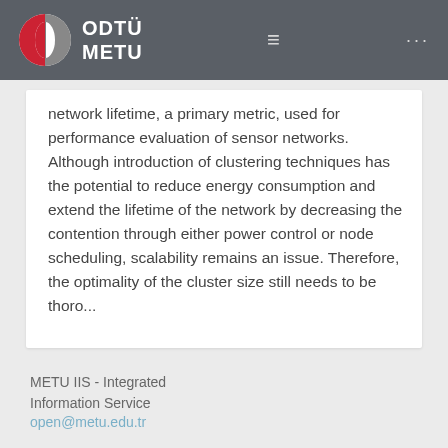ODTÜ METU
network lifetime, a primary metric, used for performance evaluation of sensor networks. Although introduction of clustering techniques has the potential to reduce energy consumption and extend the lifetime of the network by decreasing the contention through either power control or node scheduling, scalability remains an issue. Therefore, the optimality of the cluster size still needs to be thoro...
METU IIS - Integrated Information Service
open@metu.edu.tr